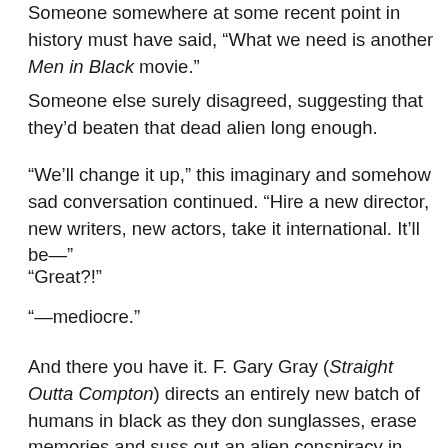Someone somewhere at some recent point in history must have said, “What we need is another Men in Black movie.”
Someone else surely disagreed, suggesting that they’d beaten that dead alien long enough.
“We’ll change it up,” this imaginary and somehow sad conversation continued. “Hire a new director, new writers, new actors, take it international. It’ll be—”
“Great?!”
“—mediocre.”
And there you have it. F. Gary Gray (Straight Outta Compton) directs an entirely new batch of humans in black as they don sunglasses, erase memories and suss out an alien conspiracy in their ranks, this time on European soil.
From: The excerpt begins and the text continues below…